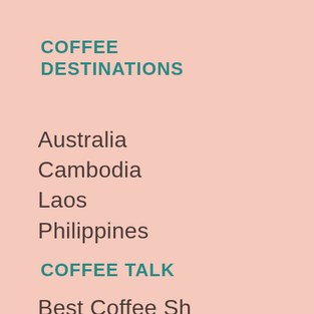COFFEE DESTINATIONS
Australia
Cambodia
Laos
Philippines
COFFEE TALK
Best Coffee Sh…